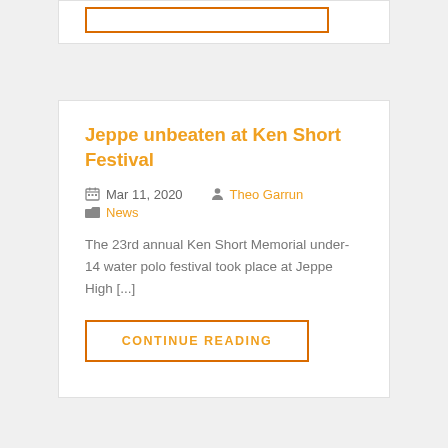[Figure (other): Top card partial view with orange-bordered button at top of page]
Jeppe unbeaten at Ken Short Festival
Mar 11, 2020  Theo Garrun  News
The 23rd annual Ken Short Memorial under-14 water polo festival took place at Jeppe High [...]
CONTINUE READING